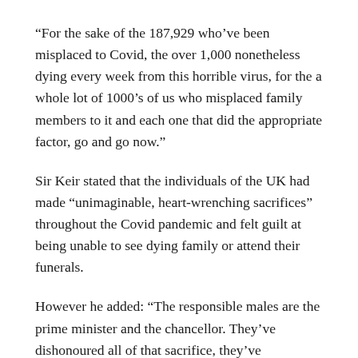“For the sake of the 187,929 who’ve been misplaced to Covid, the over 1,000 nonetheless dying every week from this horrible virus, for the a whole lot of 1000’s of us who misplaced family members to it and each one that did the appropriate factor, go and go now.”
Sir Keir stated that the individuals of the UK had made “unimaginable, heart-wrenching sacrifices” throughout the Covid pandemic and felt guilt at being unable to see dying family or attend their funerals.
However he added: “The responsible males are the prime minister and the chancellor. They’ve dishonoured all of that sacrifice, they’ve dishonoured their workplace.